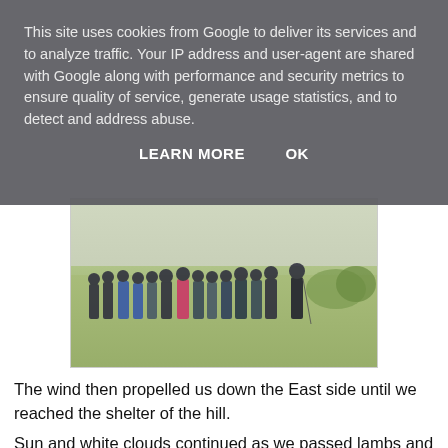This site uses cookies from Google to deliver its services and to analyze traffic. Your IP address and user-agent are shared with Google along with performance and security metrics to ensure quality of service, generate usage statistics, and to detect and address abuse.
LEARN MORE    OK
[Figure (photo): Group of people standing in a field with green grass, dressed in winter walking coats, outdoors on a cloudy day]
The wind then propelled us down the East side until we reached the shelter of the hill.
Sun and white clouds continued as we passed lambs and sheep, but we could see the grey sky over to the West - it amounted only to a few minutes of drizzle and we ended the walk warm and dry back at the Raven Arms.